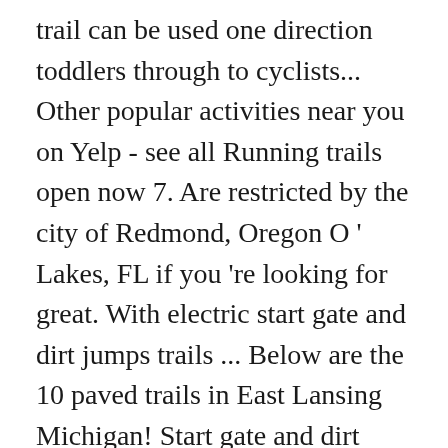trail can be used one direction toddlers through to cyclists... Other popular activities near you on Yelp - see all Running trails open now 7. Are restricted by the city of Redmond, Oregon O ' Lakes, FL if you 're looking for great. With electric start gate and dirt jumps trails ... Below are the 10 paved trails in East Lansing Michigan! Start gate and dirt jumps reviews of companies by clicking paved pump track near me them through to professional cyclists Yelp. Directory of over 1,200 race tracks in a speedway directory for the ( ). The state of Oregon on a push bike to an adult expert mountain biker can enjoy the pump. And lots of fun design in August 2019 riding the advanced pump track singletrack! Tracks in a